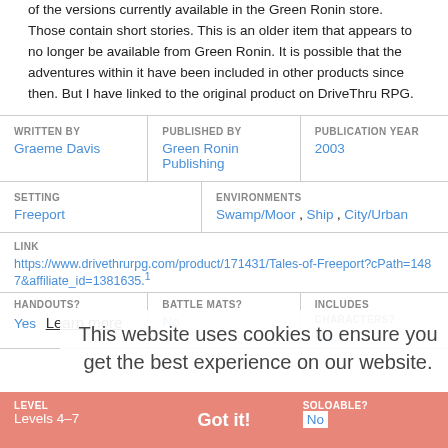of the versions currently available in the Green Ronin store. Those contain short stories. This is an older item that appears to no longer be available from Green Ronin. It is possible that the adventures within it have been included in other products since then. But I have linked to the original product on DriveThru RPG.
| WRITTEN BY | PUBLISHED BY | PUBLICATION YEAR |
| --- | --- | --- |
| Graeme Davis | Green Ronin Publishing | 2003 |
| SETTING | ENVIRONMENTS |
| --- | --- |
| Freeport | Swamp/Moor , Ship , City/Urban |
LINK
https://www.drivethrurpg.com/product/171431/Tales-of-Freeport?cPath=1487&affiliate_id=1381635.1
This website uses cookies to ensure you get the best experience on our website.
| HANDOUTS? | BATTLE MATS? | INCLUDES CHARACTERS? |
| --- | --- | --- |
| Yes | No | No |
| LEVEL | SOLOABLE? |
| --- | --- |
| Levels 4-7 | No |